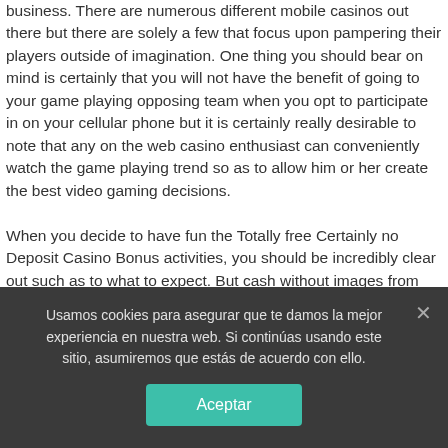business. There are numerous different mobile casinos out there but there are solely a few that focus upon pampering their players outside of imagination. One thing you should bear on mind is certainly that you will not have the benefit of going to your game playing opposing team when you opt to participate in on your cellular phone but it is certainly really desirable to note that any on the web casino enthusiast can conveniently watch the game playing trend so as to allow him or her create the best video gaming decisions.

When you decide to have fun the Totally free Certainly no Deposit Casino Bonus activities, you should be incredibly clear out such as to what to expect. But cash without images from any gambling den will end up instantly
Usamos cookies para asegurar que te damos la mejor experiencia en nuestra web. Si continúas usando este sitio, asumiremos que estás de acuerdo con ello.